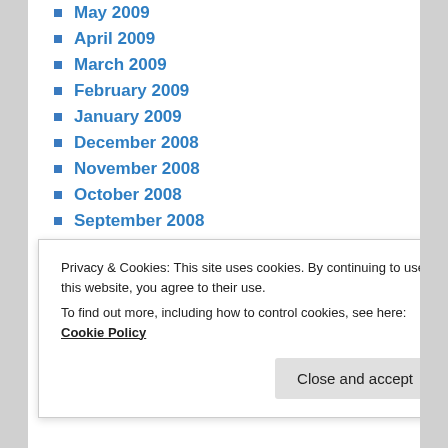May 2009
April 2009
March 2009
February 2009
January 2009
December 2008
November 2008
October 2008
September 2008
August 2008
July 2008
June 2008
May 2008
April 2008
March 2008
Privacy & Cookies: This site uses cookies. By continuing to use this website, you agree to their use.
To find out more, including how to control cookies, see here: Cookie Policy